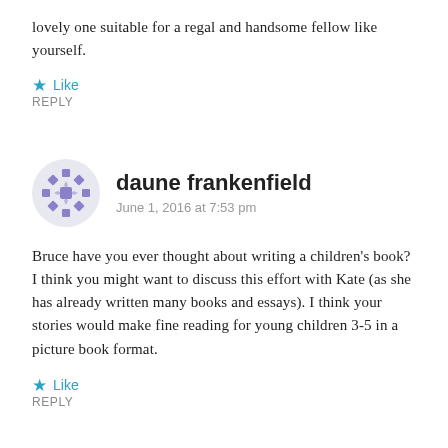lovely one suitable for a regal and handsome fellow like yourself.
Like
REPLY
daune frankenfield
June 1, 2016 at 7:53 pm

Bruce have you ever thought about writing a children's book? I think you might want to discuss this effort with Kate (as she has already written many books and essays). I think your stories would make fine reading for young children 3-5 in a picture book format.

Like
REPLY